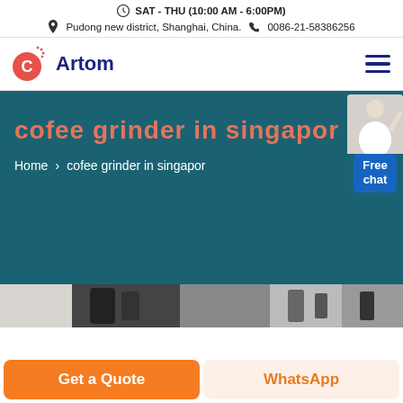SAT - THU (10:00 AM - 6:00PM)
Pudong new district, Shanghai, China.  0086-21-58386256
[Figure (logo): Artom brand logo with red circular C icon and blue text 'Artom']
cofee grinder in singapor
Home > cofee grinder in singapor
[Figure (photo): Coffee grinder product image strip]
Get a Quote
WhatsApp